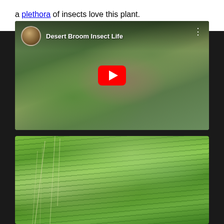a plethora of insects love this plant.
[Figure (screenshot): YouTube video embed thumbnail titled 'Desert Broom Insect Life' showing an insect on desert broom flowers with a red YouTube play button in the center. YouTube avatar and three-dot menu visible.]
[Figure (photo): Close-up photograph of bright green desert broom plant stems and foliage, with thin wispy grass strands in the foreground.]